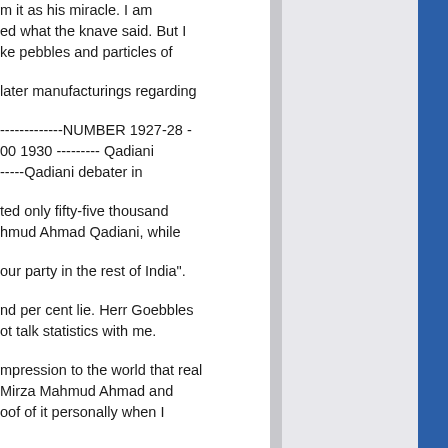m it as his miracle. I am ed what the knave said. But I ke pebbles and particles of
later manufacturings regarding
-------------NUMBER 1927-28 - 00 1930 --------- Qadiani -----Qadiani debater in
ted only fifty-five thousand hmud Ahmad Qadiani, while
our party in the rest of India".
nd per cent lie. Herr Goebbles ot talk statistics with me.
mpression to the world that real Mirza Mahmud Ahmad and oof of it personally when I